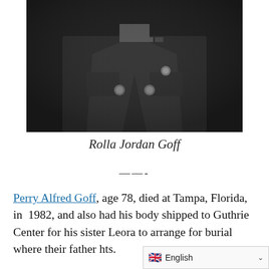[Figure (photo): Black and white photograph of Rolla Jordan Goff in military uniform, showing chest area with buttons, medals/ribbons, and jacket lapels.]
Rolla Jordan Goff
——-
Perry Alfred Goff, age 78, died at Tampa, Florida, in 1982, and also had his body shipped to Guthrie Center for his sister Leora to arrange for burial where their father h[...] ts.